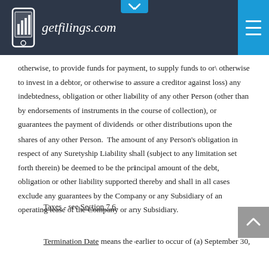getfilings.com
otherwise, to provide funds for payment, to supply funds to or\ otherwise to invest in a debtor, or otherwise to assure a creditor against loss) any indebtedness, obligation or other liability of any other Person (other than by endorsements of instruments in the course of collection), or guarantees the payment of dividends or other distributions upon the shares of any other Person.  The amount of any Person's obligation in respect of any Suretyship Liability shall (subject to any limitation set forth therein) be deemed to be the principal amount of the debt, obligation or other liability supported thereby and shall in all cases exclude any guarantees by the Company or any Subsidiary of an operating lease of the Company or any Subsidiary.
Taxes - see Section 7.6.
Termination Date means the earlier to occur of (a) September 30,